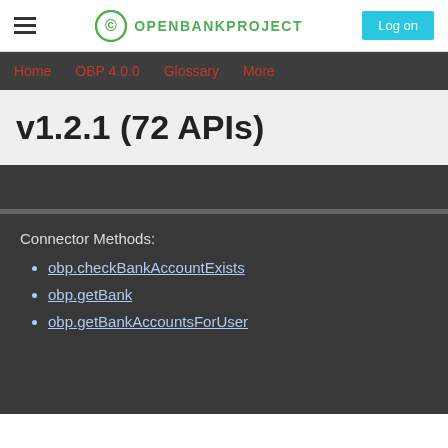Open Bank Project — Log on
Home   OBP 4.0.0   Glossary   More
v1.2.1 (72 APIs)
Connector Methods:
obp.checkBankAccountExists
obp.getBank
obp.getBankAccountsForUser